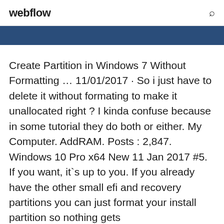webflow
Create Partition in Windows 7 Without Formatting … 11/01/2017 · So i just have to delete it without formating to make it unallocated right ? I kinda confuse because in some tutorial they do both or either. My Computer. AddRAM. Posts : 2,847. Windows 10 Pro x64 New 11 Jan 2017 #5. If you want, it`s up to you. If you already have the other small efi and recovery partitions you can just format your install partition so nothing gets